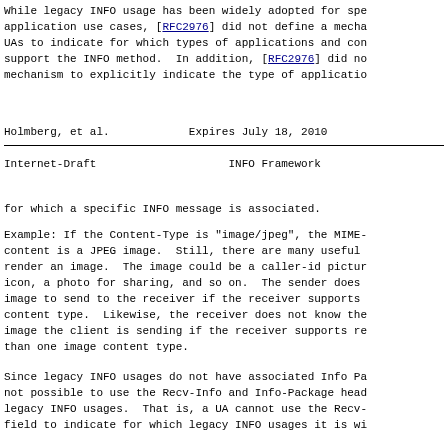While legacy INFO usage has been widely adopted for spe application use cases, [RFC2976] did not define a mecha UAs to indicate for which types of applications and con support the INFO method.  In addition, [RFC2976] did no mechanism to explicitly indicate the type of applicatio
Holmberg, et al.            Expires July 18, 2010
Internet-Draft                    INFO Framework
for which a specific INFO message is associated.
Example: If the Content-Type is "image/jpeg", the MIME- content is a JPEG image.  Still, there are many useful render an image.  The image could be a caller-id pictur icon, a photo for sharing, and so on.  The sender does image to send to the receiver if the receiver supports content type.  Likewise, the receiver does not know the image the client is sending if the receiver supports re than one image content type.
Since legacy INFO usages do not have associated Info Pa not possible to use the Recv-Info and Info-Package head legacy INFO usages.  That is, a UA cannot use the Recv- field to indicate for which legacy INFO usages it is wi